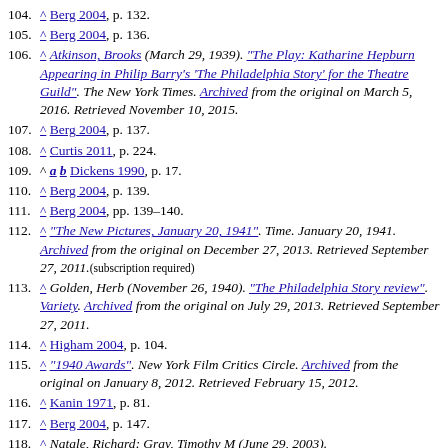104. ^ Berg 2004, p. 132.
105. ^ Berg 2004, p. 136.
106. ^ Atkinson, Brooks (March 29, 1939). "The Play: Katharine Hepburn Appearing in Philip Barry's 'The Philadelphia Story' for the Theatre Guild". The New York Times. Archived from the original on March 5, 2016. Retrieved November 10, 2015.
107. ^ Berg 2004, p. 137.
108. ^ Curtis 2011, p. 224.
109. ^ a b Dickens 1990, p. 17.
110. ^ Berg 2004, p. 139.
111. ^ Berg 2004, pp. 139–140.
112. ^ "The New Pictures, January 20, 1941". Time. January 20, 1941. Archived from the original on December 27, 2013. Retrieved September 27, 2011.(subscription required)
113. ^ Golden, Herb (November 26, 1940). "The Philadelphia Story review". Variety. Archived from the original on July 29, 2013. Retrieved September 27, 2011.
114. ^ Higham 2004, p. 104.
115. ^ "1940 Awards". New York Film Critics Circle. Archived from the original on January 8, 2012. Retrieved February 15, 2012.
116. ^ Kanin 1971, p. 81.
117. ^ Berg 2004, p. 147.
118. ^ Natale, Richard; Gray, Timothy M (June 29, 2003).